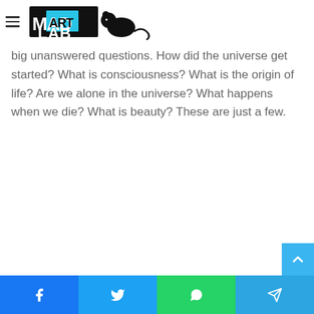Mad Art Lab
mysteries will ... We continue to make art of the gaps. Mad Art Lab that will explore content ... inspired by the big unanswered questions. How did the universe get started? What is consciousness? What is the origin of life? Are we alone in the universe? What happens when we die? What is beauty? These are just a few.